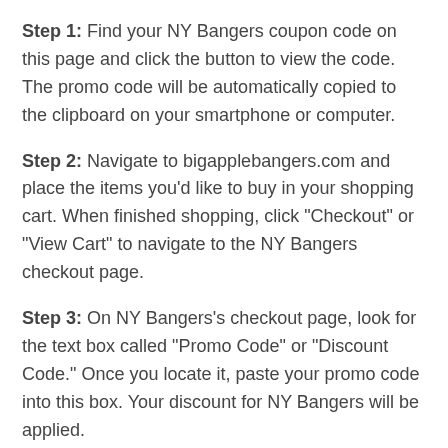Step 1: Find your NY Bangers coupon code on this page and click the button to view the code. The promo code will be automatically copied to the clipboard on your smartphone or computer.
Step 2: Navigate to bigapplebangers.com and place the items you'd like to buy in your shopping cart. When finished shopping, click "Checkout" or "View Cart" to navigate to the NY Bangers checkout page.
Step 3: On NY Bangers's checkout page, look for the text box called "Promo Code" or "Discount Code." Once you locate it, paste your promo code into this box. Your discount for NY Bangers will be applied.
Frequently Asked Questions On NY Bangers:
How to find the best coupon on NY Bangers?